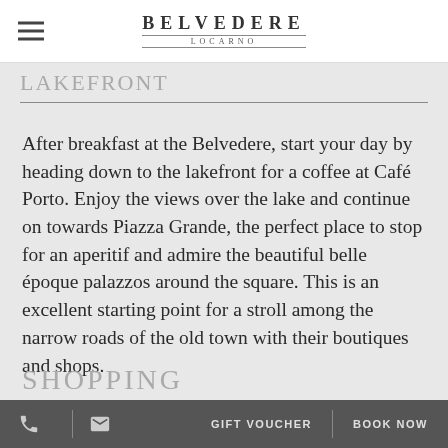BELVEDERE LOCARNO
LAKEFRONT
After breakfast at the Belvedere, start your day by heading down to the lakefront for a coffee at Café Porto. Enjoy the views over the lake and continue on towards Piazza Grande, the perfect place to stop for an aperitif and admire the beautiful belle époque palazzos around the square. This is an excellent starting point for a stroll among the narrow roads of the old town with their boutiques and shops.
ASCONA-LOCARNO.COM
SHOPPING
GIFT VOUCHER  BOOK NOW